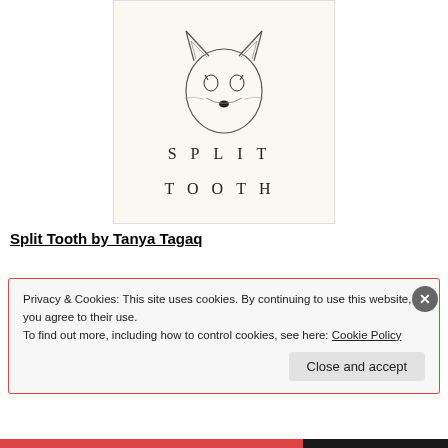[Figure (illustration): Book cover for 'Split Tooth' by Tanya Tagaq. Cream/off-white background with a minimalist line drawing of a wolf or fox face in the center. Below the illustration, the title 'SPLIT TOOTH' is printed in widely spaced capital letters across two lines.]
Split Tooth by Tanya Tagaq
Privacy & Cookies: This site uses cookies. By continuing to use this website, you agree to their use.
To find out more, including how to control cookies, see here: Cookie Policy
Close and accept